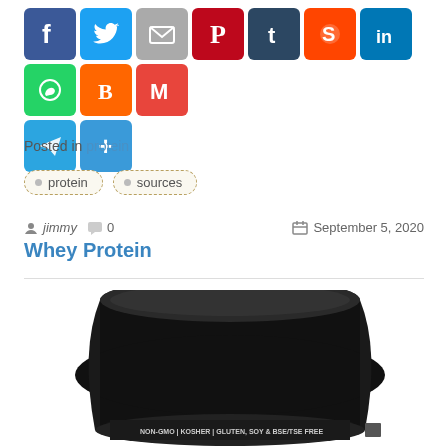[Figure (other): Social media sharing icon buttons: Facebook, Twitter, Email, Pinterest, Tumblr, Reddit, LinkedIn, WhatsApp, Blogger, Gmail, Telegram, More]
Posted in protein
protein
sources
jimmy  0    September 5, 2020
Whey Protein
[Figure (photo): Photo of a large black protein powder container/tub viewed from above-angle, label partially visible reading NON-GMO | KOSHER | GLUTEN, SOY & BSE/TSE FREE]